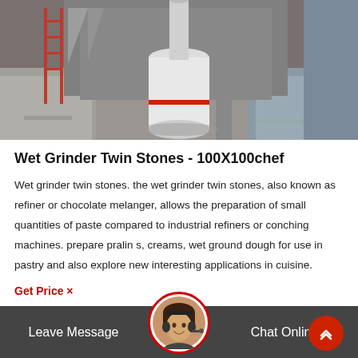[Figure (photo): Industrial wet grinder machinery with large white cylindrical vessel and pipes in a factory/warehouse setting]
Wet Grinder Twin Stones - 100X100chef
Wet grinder twin stones. the wet grinder twin stones, also known as refiner or chocolate melanger, allows the preparation of small quantities of paste compared to industrial refiners or conching machines. prepare pralin s, creams, wet ground dough for use in pastry and also explore new interesting applications in cuisine.
Get Price ×
Leave Message    Chat Online